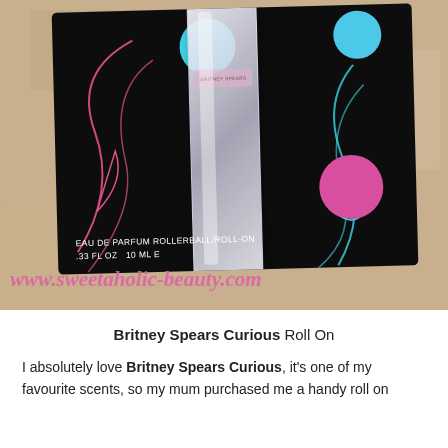[Figure (photo): Photo of a Britney Spears Curious Eau de Parfum Rollerball/Roll-On 10ml product in its black packaging with colorful circles and swirling line decorations, placed on a beige carpet. A website watermark 'www.sweetaholic-beauty.com' is visible in pink cursive at the bottom of the image.]
Britney Spears Curious Roll On
I absolutely love Britney Spears Curious, it's one of my favourite scents, so my mum purchased me a handy roll on